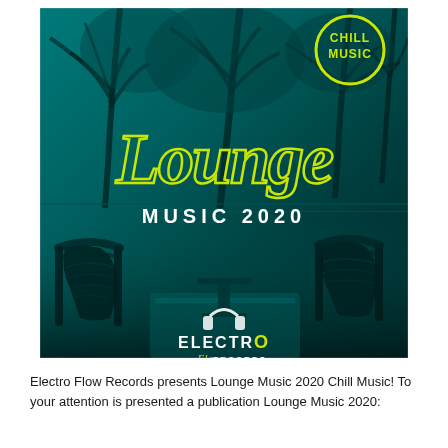[Figure (illustration): Album cover for 'Lounge Music 2020 Chill Music' by Electro Flow Records. Teal/dark cyan toned photo of a tropical lounge area with palm trees, outdoor wicker chairs, and a pool. Large yellow script 'Lounge' text and white bold 'MUSIC 2020' text overlay the image. A yellow circular 'CHILL MUSIC' badge is in the top right corner. The Electro Flow Records logo appears at the bottom center.]
Electro Flow Records presents Lounge Music 2020 Chill Music! To your attention is presented a publication Lounge Music 2020: